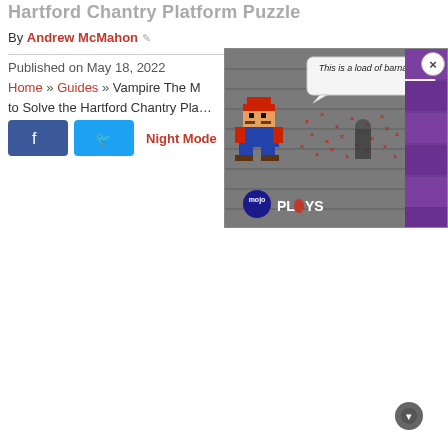Hartford Chantry Platform Puzzle
By Andrew McMahon
Published on May 18, 2022
Home » Guides » Vampire The Masquerade … to Solve the Hartford Chantry Platform Puzzle
[Figure (screenshot): Video player overlay showing a pixelated Mario character and a speech bubble saying 'This is a load of barnacles', with MojoPlays branding and a close (X) button.]
Night Mode